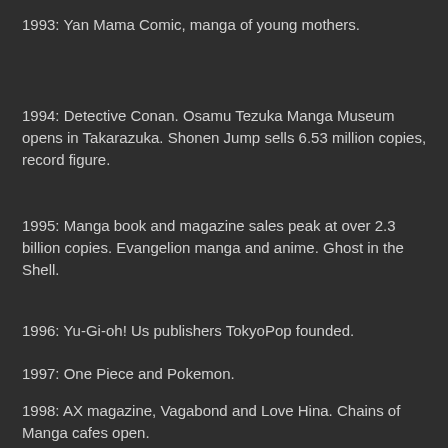1993: Yan Mama Comic, manga of young mothers.
1994: Detective Conan. Osamu Tezuka Manga Museum opens in Takarazuka. Shonen Jump sells 6.53 million copies, record figure.
1995: Manga book and magazine sales peak at over 2.3 billion copies. Evangelion manga and anime. Ghost in the Shell.
1996: Yu-Gi-oh! Us publishers TokyoPop founded.
1997: One Piece and Pokemon.
1998: AX magazine, Vagabond and Love Hina. Chains of Manga cafes open.
2000: Kyoto Seika University creates first department of comic art.